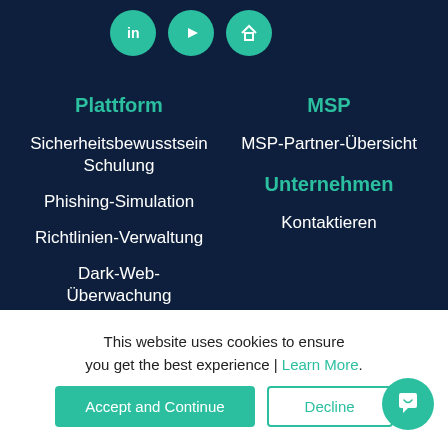[Figure (illustration): Three circular teal icon buttons: LinkedIn (in), YouTube (play), and home icon]
Plattform
Sicherheitsbewusstsein Schulung
Phishing-Simulation
Richtlinien-Verwaltung
Dark-Web-Überwachung
MSP
MSP-Partner-Übersicht
Unternehmen
Kontaktieren
This website uses cookies to ensure you get the best experience | Learn More.
Accept and Continue
Decline